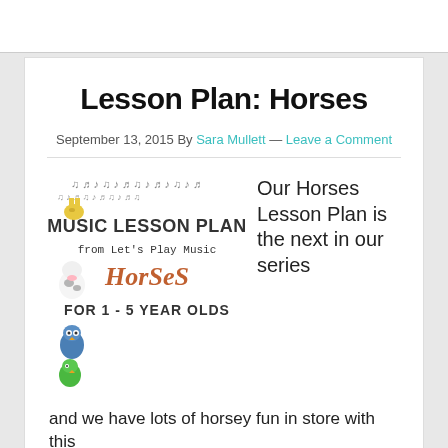Lesson Plan: Horses
September 13, 2015 By Sara Mullett — Leave a Comment
[Figure (illustration): Music Lesson Plan from Let's Play Music - Horses - For 1-5 Year Olds, with cartoon animals on the left side playing instruments]
Our Horses Lesson Plan is the next in our series
and we have lots of horsey fun in store with this